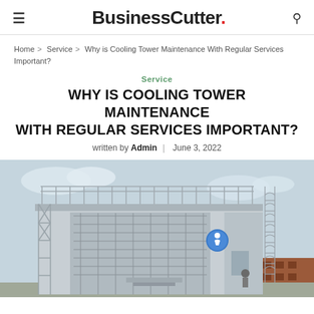BusinessCutter.
Home > Service > Why is Cooling Tower Maintenance With Regular Services Important?
Service
WHY IS COOLING TOWER MAINTENANCE WITH REGULAR SERVICES IMPORTANT?
written by Admin | June 3, 2022
[Figure (photo): Photograph of an industrial cooling tower structure with metal scaffolding, vents, a blue round sign, and a ladder cage on the right side, against a cloudy sky.]